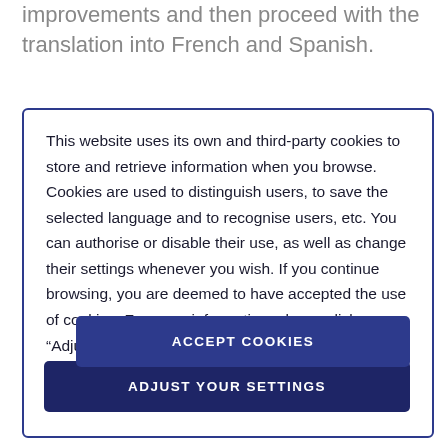improvements and then proceed with the translation into French and Spanish.
This website uses its own and third-party cookies to store and retrieve information when you browse. Cookies are used to distinguish users, to save the selected language and to recognise users, etc. You can authorise or disable their use, as well as change their settings whenever you wish. If you continue browsing, you are deemed to have accepted the use of cookies. For more information, please click on “Adjust your settings”.
ACCEPT COOKIES
ADJUST YOUR SETTINGS